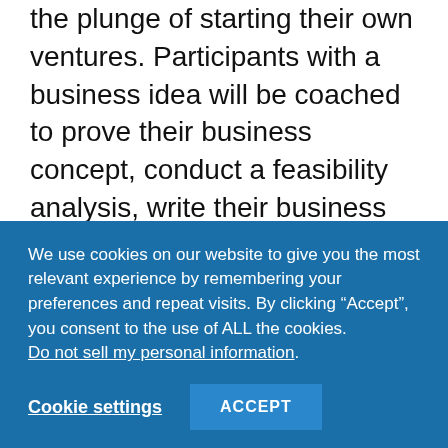the plunge of starting their own ventures. Participants with a business idea will be coached to prove their business concept, conduct a feasibility analysis, write their business plan, and develop the skills necessary to raise the funds needed to finance their ventures. Participants will also learn the skills and techniques required to successfully manage their ventures and scale their business.
The COB Global Entrepreneurship Education Initiative was created by Dr. Constant D. Beugre, Professor of management
We use cookies on our website to give you the most relevant experience by remembering your preferences and repeat visits. By clicking “Accept”, you consent to the use of ALL the cookies. Do not sell my personal information.